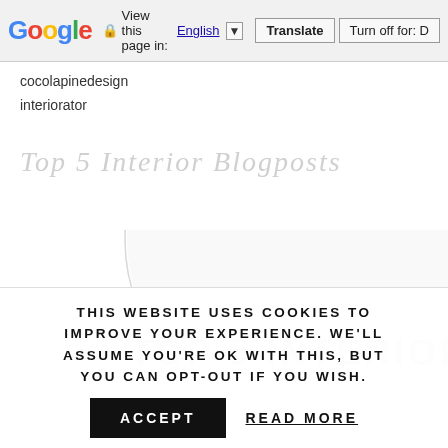Google  View this page in: English [▼]  Translate  Turn off for: D
cocolapinedesign
interiorator
Top 5 Interior blogposts
[Figure (illustration): Circular graphic with text 'TOP 5 INTERIOR' in light gray, partially cropped at bottom of page]
THIS WEBSITE USES COOKIES TO IMPROVE YOUR EXPERIENCE. WE'LL ASSUME YOU'RE OK WITH THIS, BUT YOU CAN OPT-OUT IF YOU WISH.
ACCEPT   READ MORE